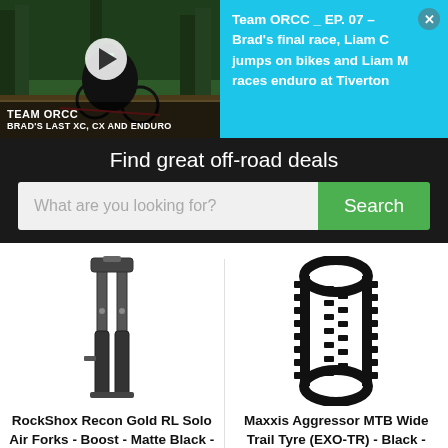[Figure (screenshot): Video thumbnail showing mountain bike rider in forest with play button overlay. Text overlay reads: TEAM ORCC / BRAD'S LAST XC, CX AND ENDURO]
Team ORCC _ EP. 07 - Brad's final race, Liam C jumps on bikes and Liam M races enduro at Tiverton
Find great off-road deals
What are you looking for?
Search
[Figure (photo): RockShox Recon Gold RL Solo Air Forks product photo - black bicycle fork on white background]
[Figure (photo): Maxxis Aggressor MTB Wide Trail Tyre product photo - black tyre on white background]
RockShox Recon Gold RL Solo Air Forks - Boost - Matte Black - 140mm, Matte Black
Maxxis Aggressor MTB Wide Trail Tyre (EXO-TR) - Black - Folding Bead, Black
Chain Reaction Cycles
Chain Reaction Cycles